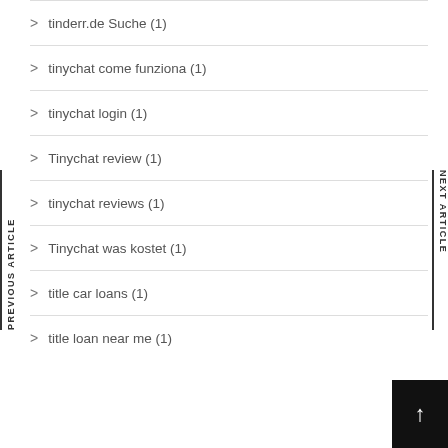tinderr.de Suche (1)
tinychat come funziona (1)
tinychat login (1)
Tinychat review (1)
tinychat reviews (1)
Tinychat was kostet (1)
title car loans (1)
title loan near me (1)